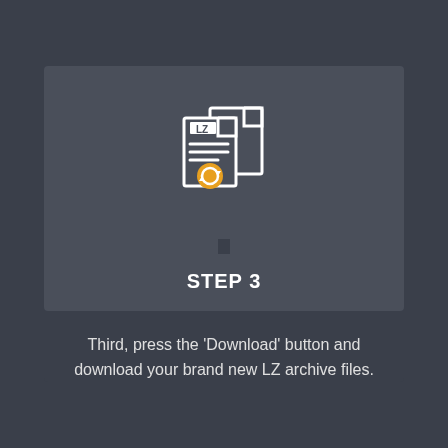[Figure (illustration): Icon of two overlapping file documents with 'LZ' label on top document and a circular refresh/convert arrow icon in orange at the bottom, rendered in white on a dark grey background. Below the icon is a vertical connector bar.]
STEP 3
Third, press the 'Download' button and download your brand new LZ archive files.